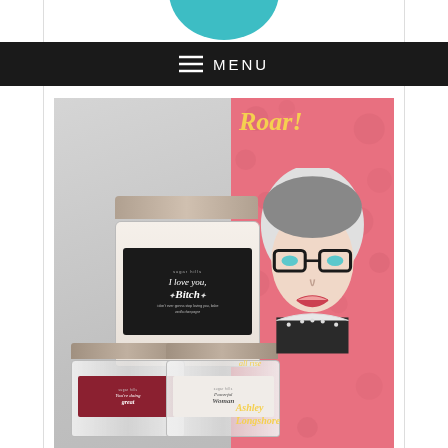[Figure (photo): Website screenshot showing a navigation bar with hamburger menu icon and MENU text on dark background, and below it a product photo of three scented candle jars (with labels reading 'I Love You Bitch', 'You're doing great', and 'Powerful Woman') next to a pink book titled 'Roar! all rise' by Ashley Longshore]
MENU